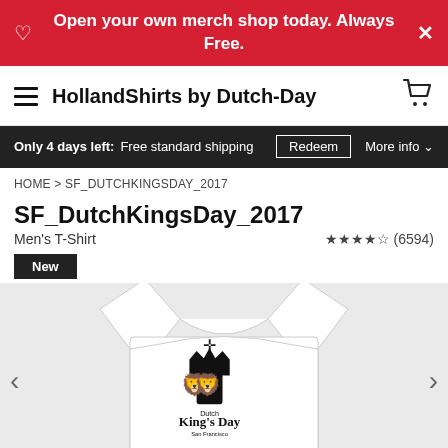Open your own merch shop today. Always Free.
HollandShirts by Dutch-Day
Only 4 days left: Free standard shipping   Redeem   More info
HOME > SF_DUTCHKINGSDAY_2017
SF_DutchKingsDay_2017
Men's T-Shirt   ★★★★½ (6594)
New
[Figure (photo): White men's t-shirt with Dutch King's Day San Francisco crest logo featuring two lions flanking a shield with a crown on top]